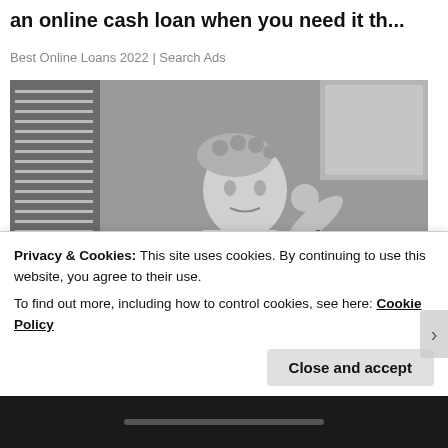an online cash loan when you need it th...
Best Online Loans 2022 | Search Ads
[Figure (photo): Black and white vintage photo of a woman in a floral apron and curlers standing in a kitchen, looking stressed, with a laundry basket on the counter beside her.]
Privacy & Cookies: This site uses cookies. By continuing to use this website, you agree to their use.
To find out more, including how to control cookies, see here: Cookie Policy
Close and accept